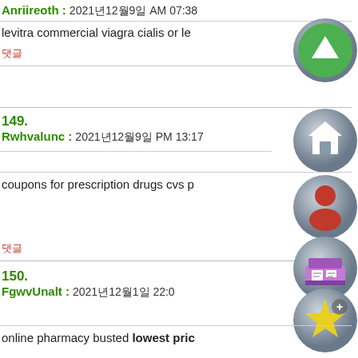Anriireoth : 2021년12월9일 AM 07:38
levitra commercial viagra cialis or le
댓글
149.
Rwhvalunc : 2021년12월9일 PM 13:17
coupons for prescription drugs cvs p
댓글
150.
FgwvUnalt : 2021년12월1일 22:0
online pharmacy busted lowest pric